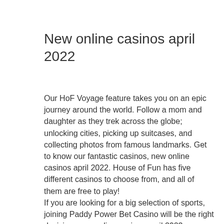New online casinos april 2022
Our HoF Voyage feature takes you on an epic journey around the world. Follow a mom and daughter as they trek across the globe; unlocking cities, picking up suitcases, and collecting photos from famous landmarks. Get to know our fantastic casinos, new online casinos april 2022. House of Fun has five different casinos to choose from, and all of them are free to play!
If you are looking for a big selection of sports, joining Paddy Power Bet Casino will be the right decision, new online casinos april 2022.
Vegas slot machines  Live social casino tournaments ? Play social casino games with friends ? The Vegas Casino experience on